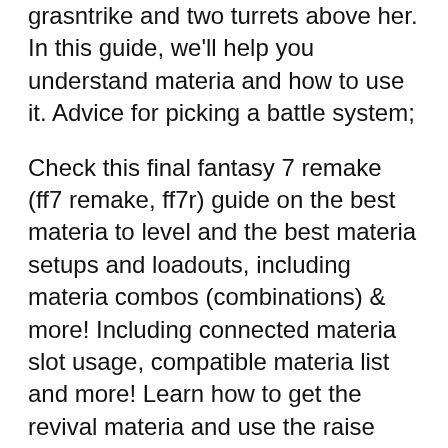grasntrike and two turrets above her. In this guide, we'll help you understand materia and how to use it. Advice for picking a battle system;
Check this final fantasy 7 remake (ff7 remake, ff7r) guide on the best materia to level and the best materia setups and loadouts, including materia combos (combinations) & more! Including connected materia slot usage, compatible materia list and more! Learn how to get the revival materia and use the raise and arise spells, as well as how much ap it takes to level up the revival materia.
Materia is one of the most important elements of final fantasy 7 remake.these